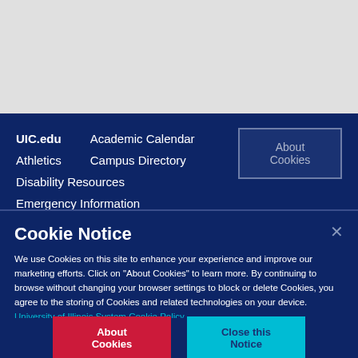UIC.edu   Academic Calendar
Athletics   Campus Directory
Disability Resources
Emergency Information
About Cookies
Cookie Notice
We use Cookies on this site to enhance your experience and improve our marketing efforts. Click on "About Cookies" to learn more. By continuing to browse without changing your browser settings to block or delete Cookies, you agree to the storing of Cookies and related technologies on your device.  University of Illinois System Cookie Policy
About Cookies
Close this Notice